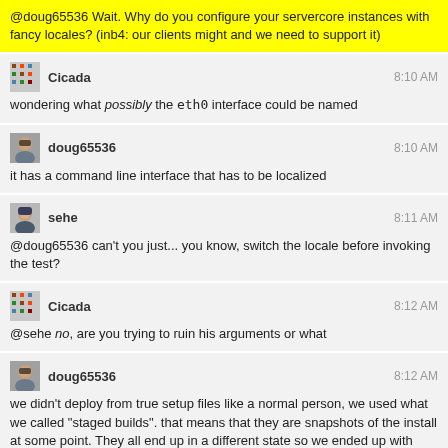@doug65536 Wait. Why do you configure your servercore instances with fancy locales? (inb4: our clients might and we need to support it)
Cicada 8:10 AM
wondering what possibly the eth0 interface could be named
doug65536 8:10 AM
it has a command line interface that has to be localized
sehe 8:11 AM
@doug65536 can't you just... you know, switch the locale before invoking the test?
Cicada 8:12 AM
@sehe no, are you trying to ruin his arguments or what
doug65536 8:12 AM
we didn't deploy from true setup files like a normal person, we used what we called "staged builds". that means that they are snapshots of the install at some point. They all end up in a different state so we ended up with disk images for different locales
sehe 8:13 AM
@Cicada Nope. I'm interested in what makes it different on windows
Cicada 8:13 AM
I should go sleep
good day
Xeo 8:14 AM
Defun...